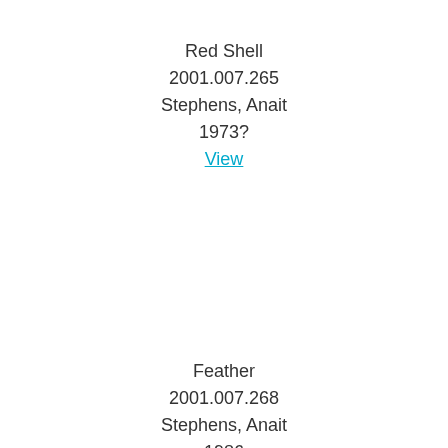Red Shell
2001.007.265
Stephens, Anait
1973?
View
Feather
2001.007.268
Stephens, Anait
1986
View